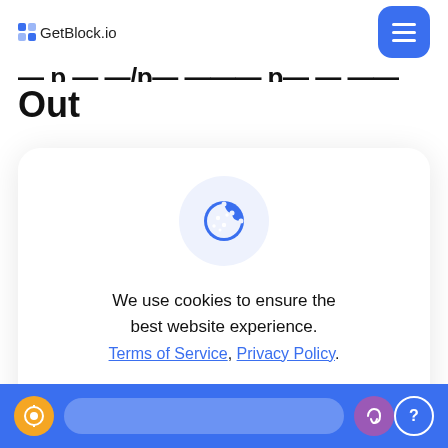GetBlock.io
Out
[Figure (screenshot): Cookie consent modal card with cookie icon, message 'We use cookies to ensure the best website experience.', links to Terms of Service and Privacy Policy, and a 'Got It' button.]
We use cookies to ensure the best website experience.
Terms of Service, Privacy Policy.
Got It